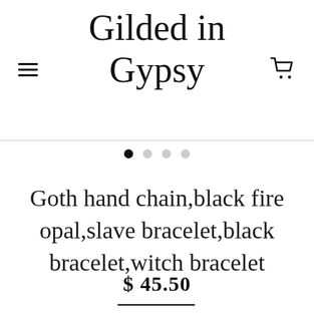Gilded in Gypsy
Goth hand chain,black fire opal,slave bracelet,black bracelet,witch bracelet
$ 45.50